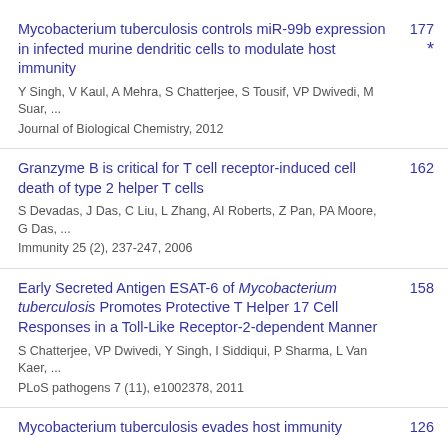Mycobacterium tuberculosis controls miR-99b expression in infected murine dendritic cells to modulate host immunity
Y Singh, V Kaul, A Mehra, S Chatterjee, S Tousif, VP Dwivedi, M Suar, ...
Journal of Biological Chemistry, 2012
177 *
Granzyme B is critical for T cell receptor-induced cell death of type 2 helper T cells
S Devadas, J Das, C Liu, L Zhang, AI Roberts, Z Pan, PA Moore, G Das, ...
Immunity 25 (2), 237-247, 2006
162
Early Secreted Antigen ESAT-6 of Mycobacterium tuberculosis Promotes Protective T Helper 17 Cell Responses in a Toll-Like Receptor-2-dependent Manner
S Chatterjee, VP Dwivedi, Y Singh, I Siddiqui, P Sharma, L Van Kaer, ...
PLoS pathogens 7 (11), e1002378, 2011
158
Mycobacterium tuberculosis evades host immunity
126